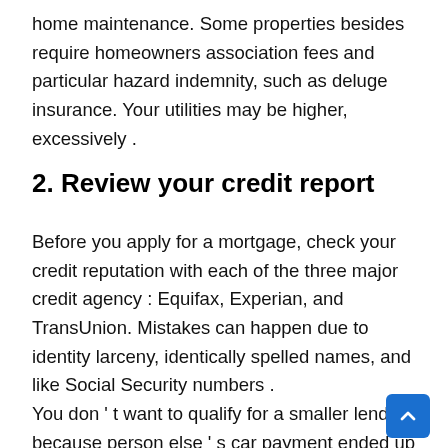home maintenance. Some properties besides require homeowners association fees and particular hazard indemnity, such as deluge insurance. Your utilities may be higher, excessively .
2. Review your credit report
Before you apply for a mortgage, check your credit reputation with each of the three major credit agency : Equifax, Experian, and TransUnion. Mistakes can happen due to identity larceny, identically spelled names, and like Social Security numbers . You don ' t want to qualify for a smaller lend because person else ' s car payment ended up on your credit rating profile, or get rejected because